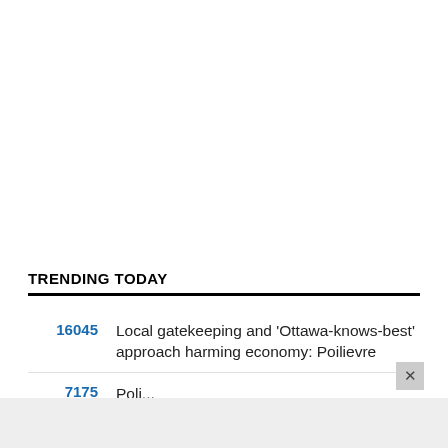TRENDING TODAY
16045   Local gatekeeping and 'Ottawa-knows-best' approach harming economy: Poilievre
7175   [partial text visible]